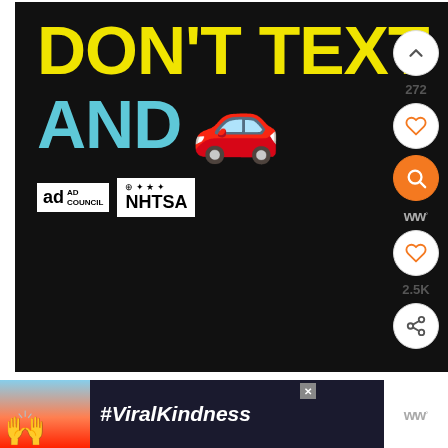[Figure (photo): Black background advertisement: 'DON'T TEXT AND [car emoji]' in yellow and cyan bold text, with Ad Council and NHTSA logos at bottom. Anti-texting-while-driving PSA.]
INSTANT POT NAVRATAN KORMA RECIPE VIDEO
[Figure (photo): Bottom advertisement: dark background with sunset/heart-hands image and #ViralKindness text in white italic.]